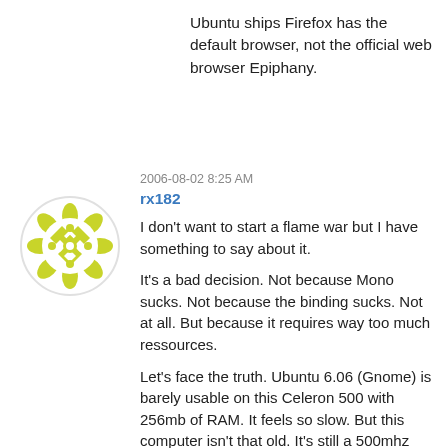Ubuntu ships Firefox has the default browser, not the official web browser Epiphany.
2006-08-02 8:25 AM
rx182
[Figure (illustration): Yellow-green decorative geometric mandala/flower pattern avatar in a white circle]
I don't want to start a flame war but I have something to say about it.
It's a bad decision. Not because Mono sucks. Not because the binding sucks. Not at all. But because it requires way too much ressources.
Let's face the truth. Ubuntu 6.06 (Gnome) is barely usable on this Celeron 500 with 256mb of RAM. It feels so slow. But this computer isn't that old. It's still a 500mhz with 256mb of RAM. Any desktop OS should run perfectly on it. XP does. And what about the One Laptop Per Child project? Are they going to give some brand